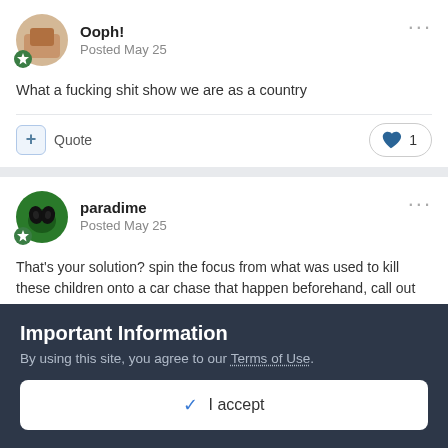Ooph!
Posted May 25
What a fucking shit show we are as a country
paradime
Posted May 25
That's your solution? spin the focus from what was used to kill these children onto a car chase that happen beforehand, call out the Texas Tribune for being a leftist paper, fuck me and my
Important Information
By using this site, you agree to our Terms of Use.
✓  I accept